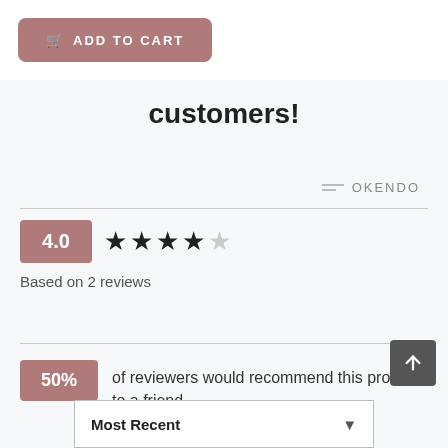ADD TO CART
customers!
OKENDO
4.0 ★★★★☆
Based on 2 reviews
50% of reviewers would recommend this product to a friend
Most Recent